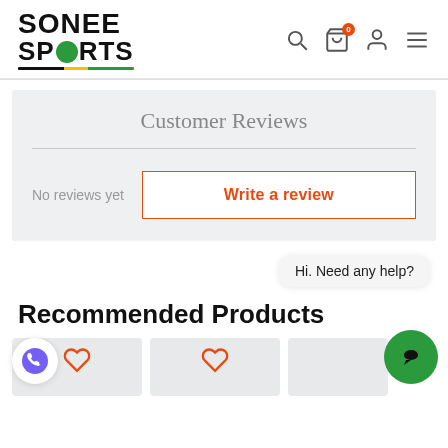[Figure (logo): Sonee Sports logo with green circle in SPORTS text and tri-color underline (black, yellow, green)]
Customer Reviews
No reviews yet
Write a review
Hi. Need any help?
Recommended Products